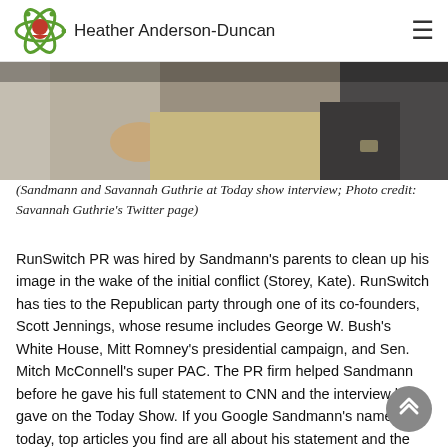Heather Anderson-Duncan
[Figure (photo): Partial photo showing people seated, cropped at top of page — Sandmann and Savannah Guthrie at Today show interview]
(Sandmann and Savannah Guthrie at Today show interview; Photo credit: Savannah Guthrie's Twitter page)
RunSwitch PR was hired by Sandmann's parents to clean up his image in the wake of the initial conflict (Storey, Kate). RunSwitch has ties to the Republican party through one of its co-founders, Scott Jennings, whose resume includes George W. Bush's White House, Mitt Romney's presidential campaign, and Sen. Mitch McConnell's super PAC. The PR firm helped Sandmann before he gave his full statement to CNN and the interview he gave on the Today Show. If you Google Sandmann's name today, top articles you find are all about his statement and the